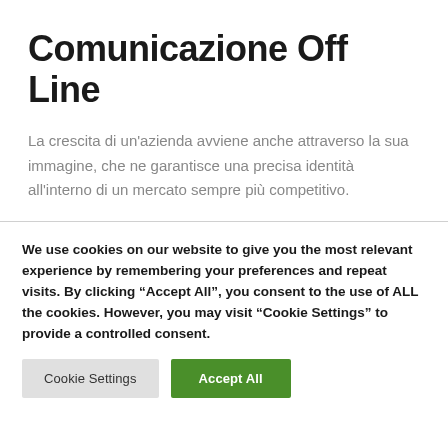Comunicazione Off Line
La crescita di un'azienda avviene anche attraverso la sua immagine, che ne garantisce una precisa identità all'interno di un mercato sempre più competitivo.
We use cookies on our website to give you the most relevant experience by remembering your preferences and repeat visits. By clicking "Accept All", you consent to the use of ALL the cookies. However, you may visit "Cookie Settings" to provide a controlled consent.